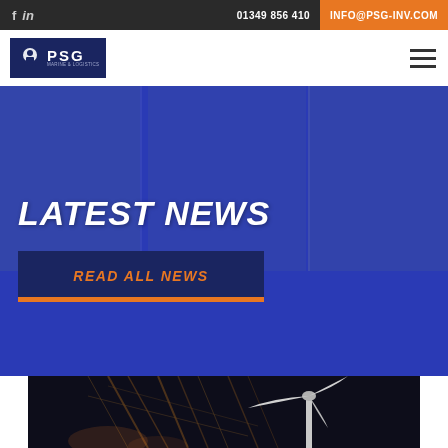f  in  |  01349 856 410  |  INFO@PSG-INV.COM
[Figure (logo): PSG Marine & Logistics logo with white text on dark blue background]
LATEST NEWS
READ ALL NEWS
[Figure (photo): Night-time photo of a wind turbine with crane and rigging in background]